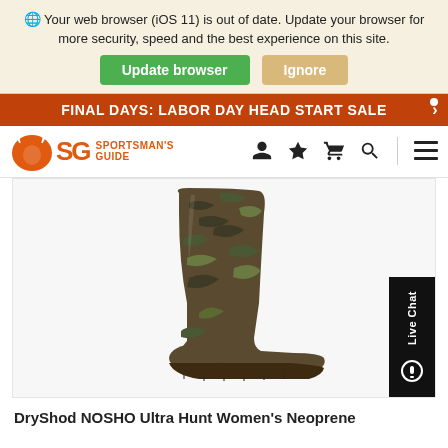Your web browser (iOS 11) is out of date. Update your browser for more security, speed and the best experience on this site.
Update browser   Ignore
FINAL DAYS: LABOR DAY HEAD START SALE
[Figure (logo): Sportsman's Guide logo with SG letters and deer icon]
[Figure (photo): DryShod NOSHO Ultra Hunt Women's Neoprene camo hunting boot, full boot standing upright on white background]
Live Chat
DryShod NOSHO Ultra Hunt Women's Neoprene